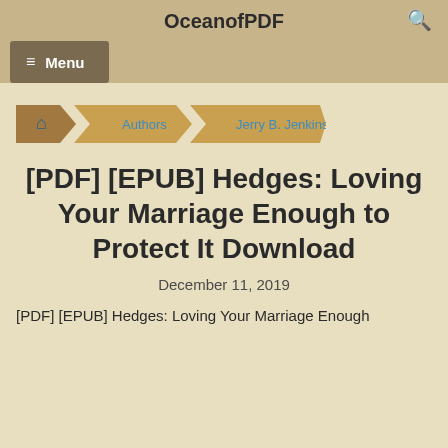OceanofPDF
Menu
🏠 Authors › Jerry B. Jenkins
[PDF] [EPUB] Hedges: Loving Your Marriage Enough to Protect It Download
December 11, 2019
[PDF] [EPUB] Hedges: Loving Your Marriage Enough